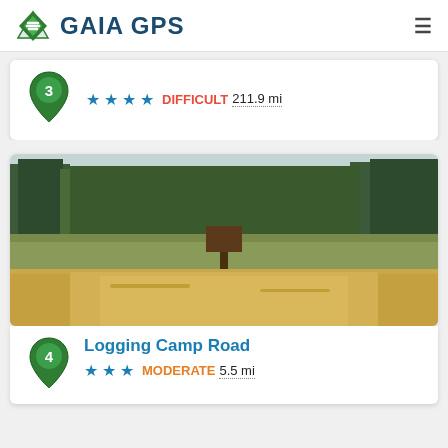GAIA GPS
★★★★ DIFFICULT 211.9 mi (item 3, partial)
[Figure (photo): Dirt road with sagebrush and pine trees in background, outdoor trail photo]
Logging Camp Road
★★★ MODERATE 5.5 mi (item 4)